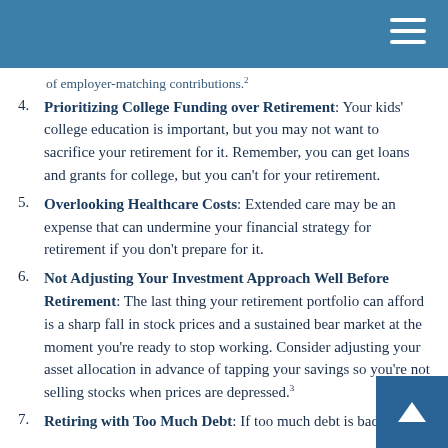of employer-matching contributions.2
4. Prioritizing College Funding over Retirement: Your kids' college education is important, but you may not want to sacrifice your retirement for it. Remember, you can get loans and grants for college, but you can't for your retirement.
5. Overlooking Healthcare Costs: Extended care may be an expense that can undermine your financial strategy for retirement if you don't prepare for it.
6. Not Adjusting Your Investment Approach Well Before Retirement: The last thing your retirement portfolio can afford is a sharp fall in stock prices and a sustained bear market at the moment you're ready to stop working. Consider adjusting your asset allocation in advance of tapping your savings so you're not selling stocks when prices are depressed.3
7. Retiring with Too Much Debt: If too much debt is bad